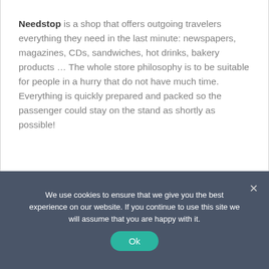Needstop is a shop that offers outgoing travelers everything they need in the last minute: newspapers, magazines, CDs, sandwiches, hot drinks, bakery products … The whole store philosophy is to be suitable for people in a hurry that do not have much time. Everything is quickly prepared and packed so the passenger could stay on the stand as shortly as possible!
We use cookies to ensure that we give you the best experience on our website. If you continue to use this site we will assume that you are happy with it.